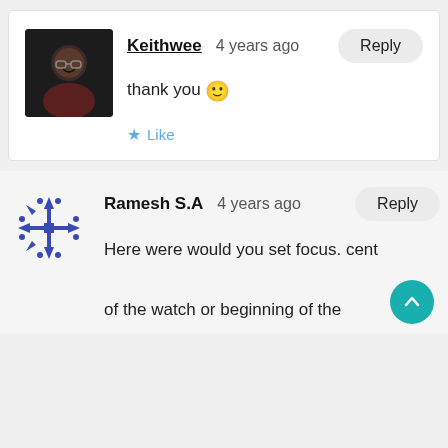[Figure (photo): Avatar photo of user Keithwee — person with glasses]
Keithwee   4 years ago
Reply
thank you 🙂
★ Like
[Figure (illustration): Avatar icon for user Ramesh S.A — blue geometric snowflake/star pattern]
Ramesh S.A   4 years ago
Reply
Here were would you set focus. cent
of the watch or beginning of the